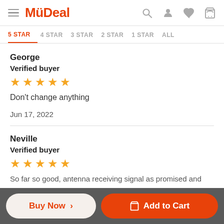MyDeal
5 STAR | 4 STAR | 3 STAR | 2 STAR | 1 STAR | ALL
George
Verified buyer
★★★★★
Don't change anything
Jun 17, 2022
Neville
Verified buyer
★★★★★
So far so good, antenna receiving signal as promised and